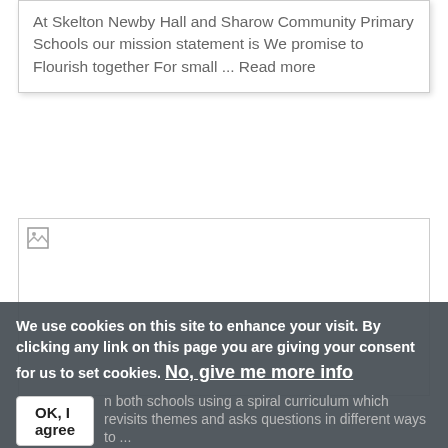At Skelton Newby Hall and Sharow Community Primary Schools our mission statement is We promise to Flourish together For small ... Read more
[Figure (photo): Broken/missing image placeholder with small document icon in top-left corner]
We use cookies on this site to enhance your visit. By clicking any link on this page you are giving your consent for us to set cookies. No, give me more info
OK, I agree
n both schools using a spiral curriculum which revisits themes and asks questions in different ways to ...